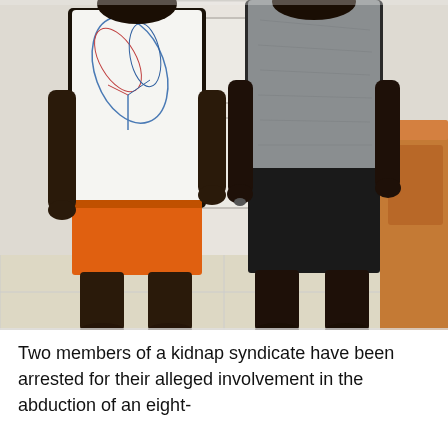[Figure (photo): Two men standing side by side indoors in front of a white door. The man on the left wears a white t-shirt with a leaf/floral print and orange shorts, barefoot. The man on the right wears a gray t-shirt and black shorts/pants, barefoot. A brown sofa/couch is visible on the right side. Tiled floor visible at bottom.]
Two members of a kidnap syndicate have been arrested for their alleged involvement in the abduction of an eight-year-old boy in Lagos...